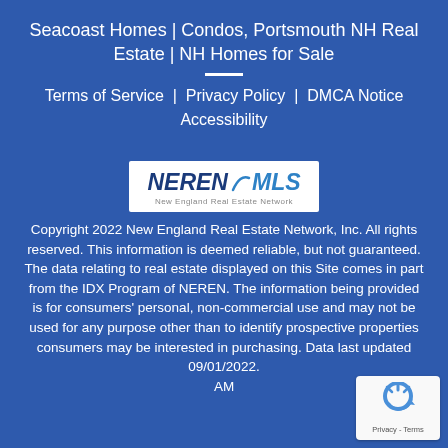Seacoast Homes | Condos, Portsmouth NH Real Estate | NH Homes for Sale
Terms of Service | Privacy Policy | DMCA Notice Accessibility
[Figure (logo): NEREN MLS - New England Real Estate Network logo on white background]
Copyright 2022 New England Real Estate Network, Inc. All rights reserved. This information is deemed reliable, but not guaranteed. The data relating to real estate displayed on this Site comes in part from the IDX Program of NEREN. The information being provided is for consumers' personal, non-commercial use and may not be used for any purpose other than to identify prospective properties consumers may be interested in purchasing. Data last updated 09/01/2022. AM